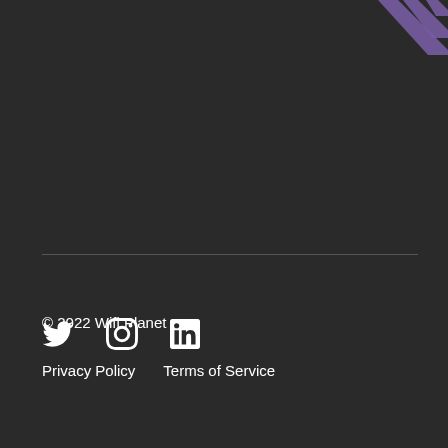[Figure (illustration): Decorative purple diagonal stripes in top right corner]
[Figure (illustration): Social media icons: Twitter, Instagram, LinkedIn in white]
© 2022 Wifi Planet
Privacy Policy    Terms of Service